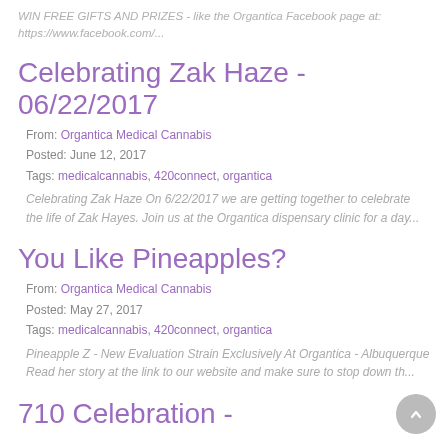WIN FREE GIFTS AND PRIZES - like the Organtica Facebook page at: https://www.facebook.com/...
Celebrating Zak Haze - 06/22/2017
From: Organtica Medical Cannabis
Posted: June 12, 2017
Tags: medicalcannabis, 420connect, organtica
Celebrating Zak Haze On 6/22/2017 we are getting together to celebrate the life of Zak Hayes. Join us at the Organtica dispensary clinic for a day...
You Like Pineapples?
From: Organtica Medical Cannabis
Posted: May 27, 2017
Tags: medicalcannabis, 420connect, organtica
Pineapple Z - New Evaluation Strain Exclusively At Organtica - Albuquerque Read her story at the link to our website and make sure to stop down th...
710 Celebration -